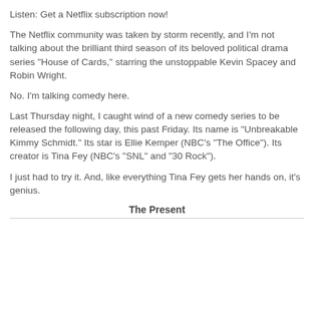Listen: Get a Netflix subscription now!
The Netflix community was taken by storm recently, and I'm not talking about the brilliant third season of its beloved political drama series "House of Cards," starring the unstoppable Kevin Spacey and Robin Wright.
No. I'm talking comedy here.
Last Thursday night, I caught wind of a new comedy series to be released the following day, this past Friday. Its name is "Unbreakable Kimmy Schmidt." Its star is Ellie Kemper (NBC's "The Office"). Its creator is Tina Fey (NBC's "SNL" and "30 Rock").
I just had to try it. And, like everything Tina Fey gets her hands on, it's genius.
The Present